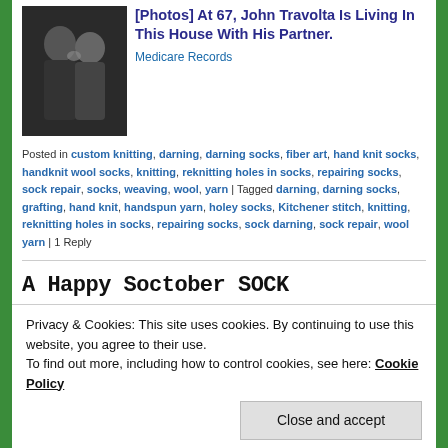[Figure (photo): Advertisement photo of two men, one kissing the other on the cheek, both in dark suits]
[Photos] At 67, John Travolta Is Living In This House With His Partner.
Medicare Records
Posted in custom knitting, darning, darning socks, fiber art, hand knit socks, handknit wool socks, knitting, reknitting holes in socks, repairing socks, sock repair, socks, weaving, wool, yarn | Tagged darning, darning socks, grafting, hand knit, handspun yarn, holey socks, Kitchener stitch, knitting, reknitting holes in socks, repairing socks, sock darning, sock repair, wool yarn | 1 Reply
A Happy Soctober SOCK
Privacy & Cookies: This site uses cookies. By continuing to use this website, you agree to their use.
To find out more, including how to control cookies, see here: Cookie Policy
Close and accept